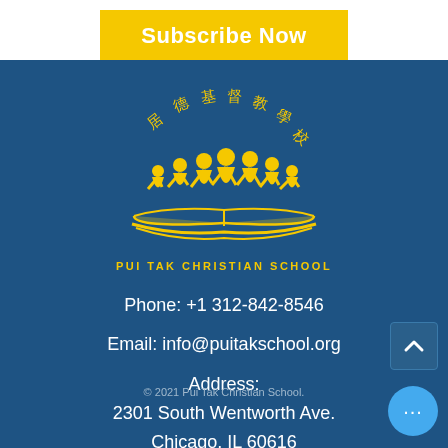Subscribe Now
[Figure (logo): Pui Tak Christian School logo: Chinese characters arched over silhouettes of children holding hands atop an open book, in yellow on dark blue background]
PUI TAK CHRISTIAN SCHOOL
Phone: +1 312-842-8546
Email: info@puitakschool.org
Address:
2301 South Wentworth Ave.
Chicago, IL 60616
© 2021 Pui Tak Christian School.